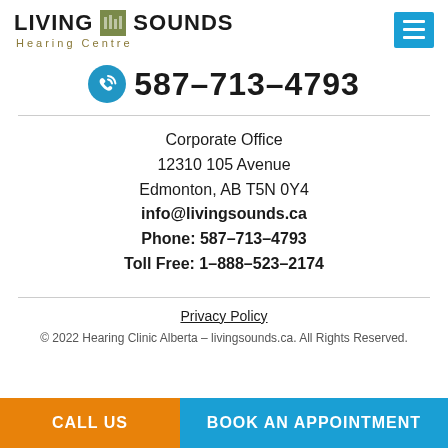[Figure (logo): Living Sounds Hearing Centre logo with green square graphic between LIVING and SOUNDS text]
587-713-4793
Corporate Office
12310 105 Avenue
Edmonton, AB T5N 0Y4
info@livingsounds.ca
Phone: 587-713-4793
Toll Free: 1-888-523-2174
Privacy Policy
© 2022 Hearing Clinic Alberta – livingsounds.ca. All Rights Reserved.
CALL US
BOOK AN APPOINTMENT